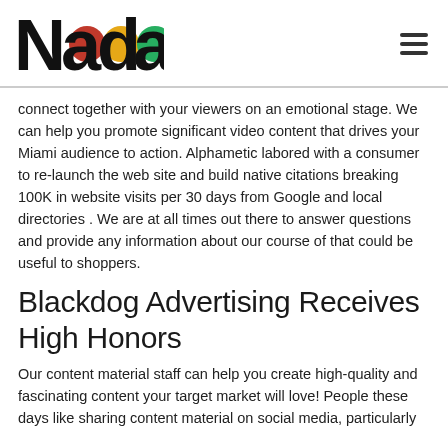Nada logo + hamburger menu
connect together with your viewers on an emotional stage. We can help you promote significant video content that drives your Miami audience to action. Alphametic labored with a consumer to re-launch the web site and build native citations breaking 100K in website visits per 30 days from Google and local directories . We are at all times out there to answer questions and provide any information about our course of that could be useful to shoppers.
Blackdog Advertising Receives High Honors
Our content material staff can help you create high-quality and fascinating content your target market will love! People these days like sharing content material on social media, particularly